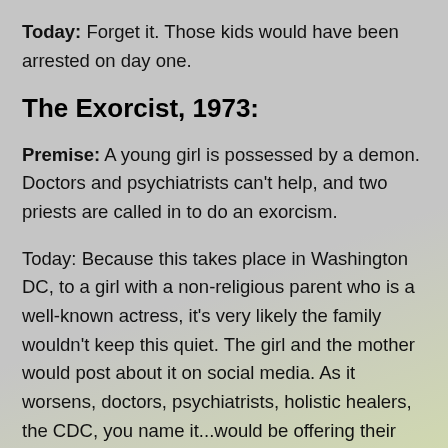Today: Forget it. Those kids would have been arrested on day one.
The Exorcist, 1973:
Premise: A young girl is possessed by a demon. Doctors and psychiatrists can't help, and two priests are called in to do an exorcism.
Today: Because this takes place in Washington DC, to a girl with a non-religious parent who is a well-known actress, it's very likely the family wouldn't keep this quiet. The girl and the mother would post about it on social media. As it worsens, doctors, psychiatrists, holistic healers, the CDC, you name it...would be offering their